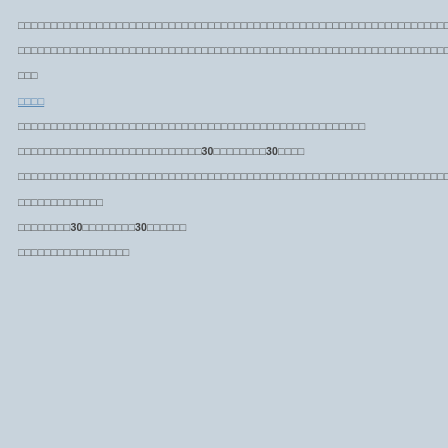□□□□□□□□□□□□□□□□□□□□□□□□□□□□□□□□□□□□□□□□□□□□□□□□□□□□□□□□□□□□□□□□□□□□□□□□□□□□□□□□□□□□□□□□□□□□□□□□□□□□□□□□□□□□□□□□□□□□□□□□□□□□□□□□□□□□□□□□□□□□□□□□□□□□□□□□□□□□□□□□□□□□□□□□□□
□□□□□□□□□□□□□□□□□□□□□□□□□□□□□□□□□□□□□□□□□□□□□□□□□□□□□□□□□□□□□□□□□□□□□□□□□□□□□□□□□□□□□□□□□□□B□□□□□□□□□□□□□□□B□□□
□□□
□□□□
□□□□□□□□□□□□□□□□□□□□□□□□□□□□□□□□□□□□□□□□□□□□□□□□□□□□□
□□□□□□□□□□□□□□□□□□□□□□□□□□□□30□□□□□□□□30□□□□
□□□□□□□□□□□□□□□□□□□□□□□□□□□□□□□□□□□□□□□□□□□□□□□□□□□□□□□□□□□□□□□□□□□□
□□□□□□□□□□□□□
□□□□□□□□30□□□□□□□□30□□□□□□
□□□□□□□□□□□□□□□□□